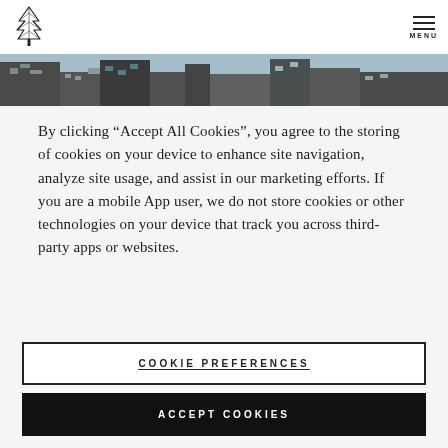[Figure (logo): Pine tree / evergreen logo in black line art]
[Figure (photo): City skyline photograph showing buildings and blue sky]
By clicking “Accept All Cookies”, you agree to the storing of cookies on your device to enhance site navigation, analyze site usage, and assist in our marketing efforts. If you are a mobile App user, we do not store cookies or other technologies on your device that track you across third-party apps or websites.
COOKIE PREFERENCES
ACCEPT COOKIES